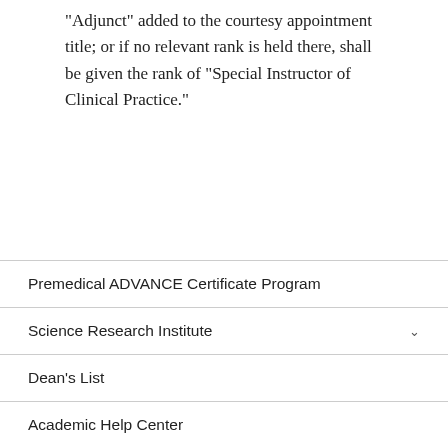“Adjunct” added to the courtesy appointment title; or if no relevant rank is held there, shall be given the rank of “Special Instructor of Clinical Practice.”
Premedical ADVANCE Certificate Program
Science Research Institute
Dean’s List
Academic Help Center